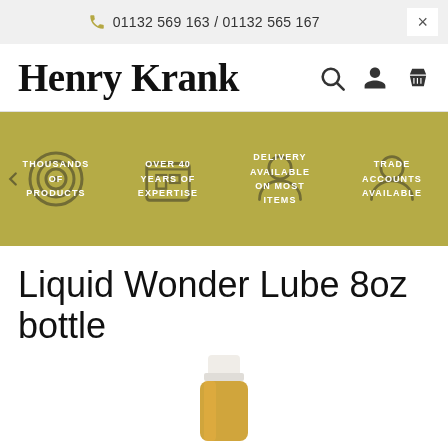01132 569 163 / 01132 565 167
Henry Krank
[Figure (infographic): Horizontal feature banner with olive/khaki background showing four benefit items: THOUSANDS OF PRODUCTS (target icon), OVER 40 YEARS OF EXPERTISE (box icon), DELIVERY AVAILABLE ON MOST ITEMS (person icon), TRADE ACCOUNTS AVAILABLE (person icon)]
Liquid Wonder Lube 8oz bottle
[Figure (photo): Bottom portion of a clear/amber bottle with white cap, partially visible at bottom of page]